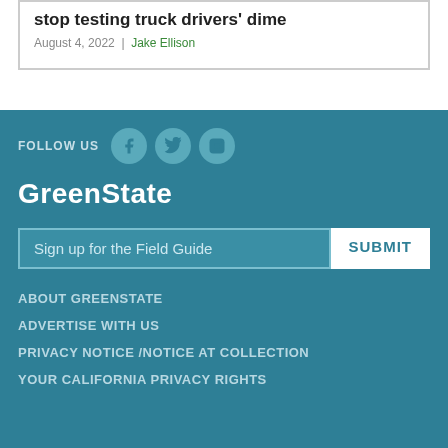stop testing truck drivers' dime
August 4, 2022 | Jake Ellison
FOLLOW US
GreenState
Sign up for the Field Guide
ABOUT GREENSTATE
ADVERTISE WITH US
PRIVACY NOTICE /NOTICE AT COLLECTION
YOUR CALIFORNIA PRIVACY RIGHTS